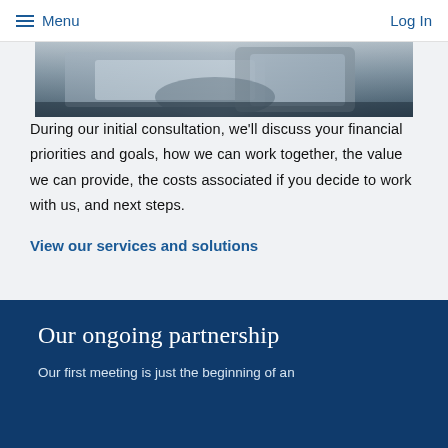≡ Menu    Log In
[Figure (photo): Partial photograph showing hands at a desk with a tablet or device, dark and grey tones, cropped at top]
During our initial consultation, we'll discuss your financial priorities and goals, how we can work together, the value we can provide, the costs associated if you decide to work with us, and next steps.
View our services and solutions
Our ongoing partnership
Our first meeting is just the beginning of an